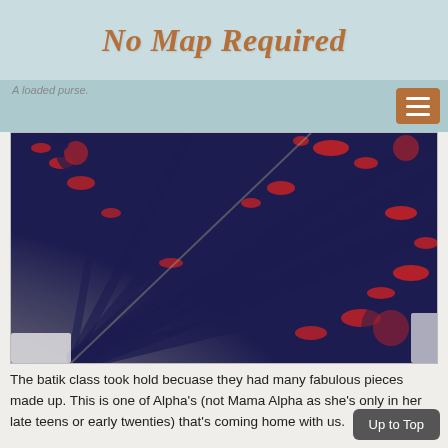No Map Required
A loaded purse.
[Figure (photo): A tie-dye or batik fabric piece with dark navy blue, cream/white, and red patterns in a fan/spiral design, laid on a white surface.]
The batik class took hold becuase they had many fabulous pieces made up. This is one of Alpha's (not Mama Alpha as she's only in her late teens or early twenties) that's coming home with us.